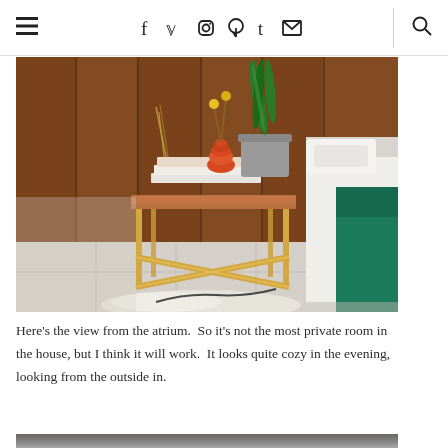☰  f  y  ☁  ⊕  t  ✉  |  🔍
[Figure (photo): A mid-century modern wooden side table with brass legs in an X-cross brace configuration, topped with white books, an orange gourd-shaped vase with yellow flowers, and a grey plant pot with a snake plant. The table is beside a bed with white bedding and a teal/green blanket, set against a wood-paneled wall with large floor tiles.]
Here's the view from the atrium.  So it's not the most private room in the house, but I think it will work.  It looks quite cozy in the evening, looking from the outside in.
[Figure (photo): Partial view of another room scene at the bottom of the page.]